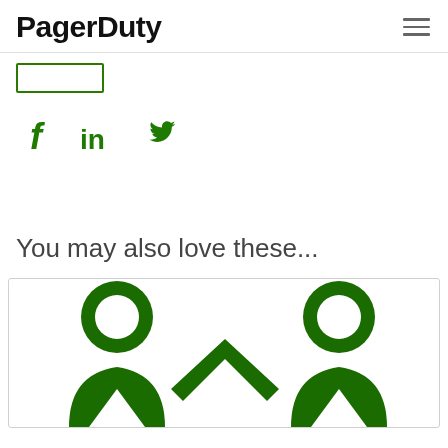PagerDuty
[Figure (logo): PagerDuty logo with hamburger menu icon]
[Button outline]
[Figure (illustration): Social media icons: Facebook (f), LinkedIn (in), Twitter bird - all in green]
You may also love these...
[Figure (illustration): Green illustration showing two person/people figures connected by an upward arrow or chevron shape, representing collaboration or connection]